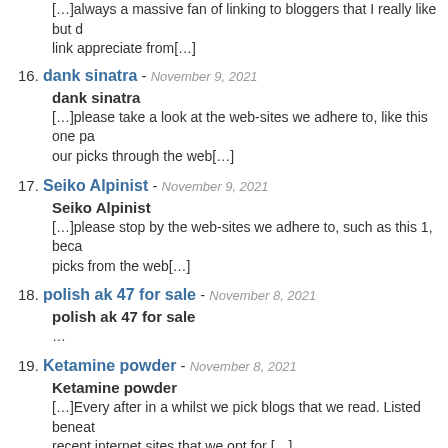[…]always a massive fan of linking to bloggers that I really like but didn't get a link appreciate from[…]
16. dank sinatra - November 9, 2021
dank sinatra
[…]please take a look at the web-sites we adhere to, like this one page, as it represents our picks through the web[…]
17. Seiko Alpinist - November 9, 2021
Seiko Alpinist
[…]please stop by the web-sites we adhere to, such as this 1, because it represents our picks from the web[…]
18. polish ak 47 for sale - November 8, 2021
polish ak 47 for sale
…
19. Ketamine powder - November 8, 2021
Ketamine powder
[…]Every after in a whilst we pick blogs that we read. Listed beneath are the most recent internet sites that we opt for […]